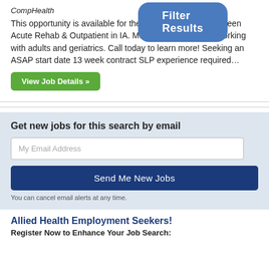CompHealth
This opportunity is available for the outpatient setting between Acute Rehab & Outpatient in IA. Must have experience working with adults and geriatrics. Call today to learn more! Seeking an ASAP start date 13 week contract SLP experience required…
View Job Details »
Get new jobs for this search by email
My Email Address
Send Me New Jobs
You can cancel email alerts at any time.
Allied Health Employment Seekers!
Register Now to Enhance Your Job Search: